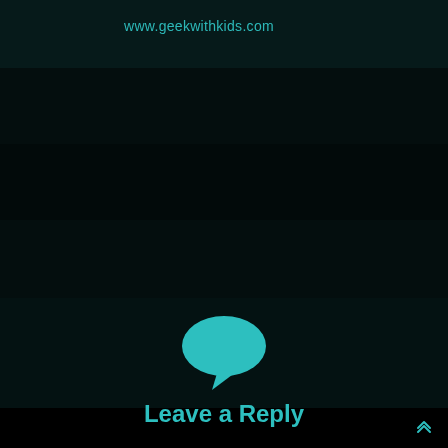www.geekwithkids.com
[Figure (illustration): Teal speech bubble icon centered on dark background]
Leave a Reply